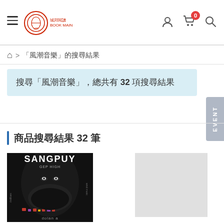城邦閱讀花園 navigation header with hamburger menu, logo, user icon, cart (0), search icon
🏠 > 「風潮音樂」的搜尋結果
搜尋「風潮音樂」，總共有 32 項搜尋結果
商品搜尋結果 32 筆
[Figure (photo): Album cover for SANGPUY - dark portrait photo of a person wearing indigenous jewelry and covering mouth with hands, white text 'SANGPUY' at top, subtitle 'GEP HIGH', bottom text 'dolan a' on black background]
[Figure (photo): Placeholder grey rectangle for a second product image]